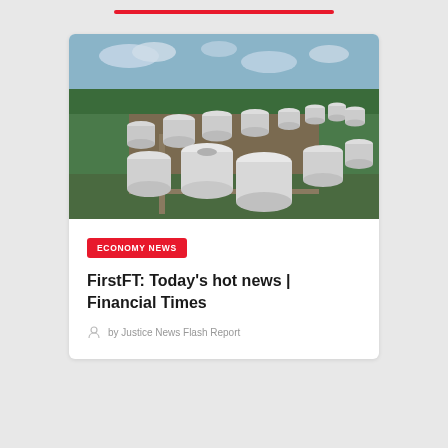[Figure (photo): Aerial view of a large oil storage tank facility surrounded by green forest and fields, with multiple large white cylindrical tanks visible.]
ECONOMY NEWS
FirstFT: Today's hot news | Financial Times
by Justice News Flash Report